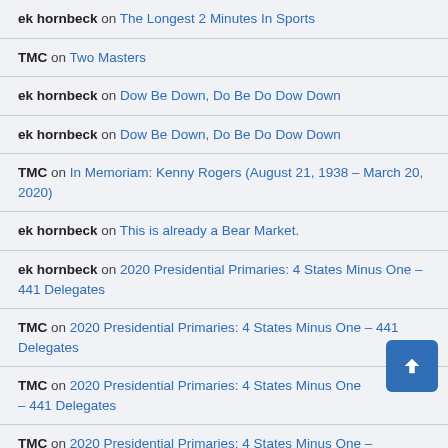ek hornbeck on The Longest 2 Minutes In Sports
TMC on Two Masters
ek hornbeck on Dow Be Down, Do Be Do Dow Down
ek hornbeck on Dow Be Down, Do Be Do Dow Down
TMC on In Memoriam: Kenny Rogers (August 21, 1938 – March 20, 2020)
ek hornbeck on This is already a Bear Market.
ek hornbeck on 2020 Presidential Primaries: 4 States Minus One – 441 Delegates
TMC on 2020 Presidential Primaries: 4 States Minus One – 441 Delegates
TMC on 2020 Presidential Primaries: 4 States Minus One – 441 Delegates
TMC on 2020 Presidential Primaries: 4 States Minus One –